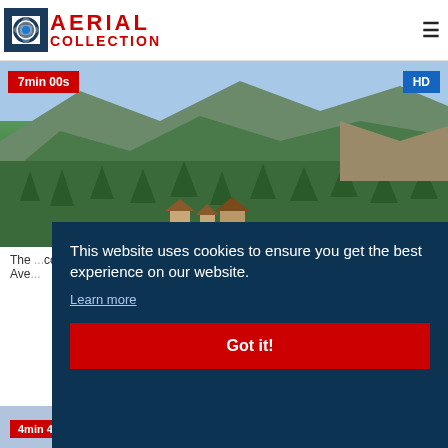AERIAL COLLECTION
[Figure (photo): Aerial view of a forested mountain valley with a small village and church nestled among dense green trees, mountainous terrain in background]
7min 00s | HD
The cosm Ave
[Figure (screenshot): Cookie consent overlay: 'This website uses cookies to ensure you get the best experience on our website. Learn more. Got it!']
4min 41s | HD